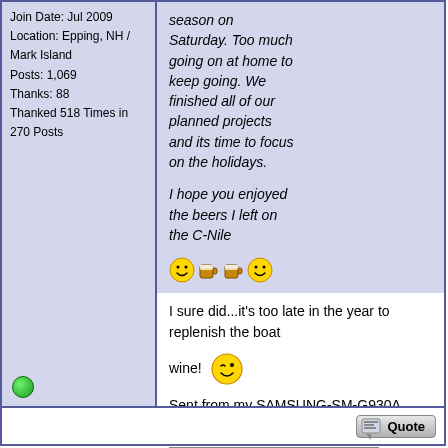Join Date: Jul 2009
Location: Epping, NH / Mark Island
Posts: 1,069
Thanks: 88
Thanked 518 Times in 270 Posts
season on Saturday. Too much going on at home to keep going. We finished all of our planned projects and its time to focus on the holidays.

I hope you enjoyed the beers I left on the C-Nile
I sure did...it's too late in the year to replenish the boat wine!

Sent from my SAMSUNG-SM-G930A using Tapatalk

....keeping " urban decay " out of photos for nearly a year.